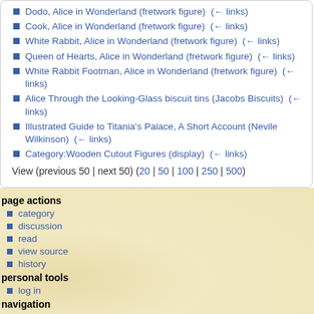Dodo, Alice in Wonderland (fretwork figure)  (← links)
Cook, Alice in Wonderland (fretwork figure)  (← links)
White Rabbit, Alice in Wonderland (fretwork figure)  (← links)
Queen of Hearts, Alice in Wonderland (fretwork figure)  (← links)
White Rabbit Footman, Alice in Wonderland (fretwork figure)  (← links)
Alice Through the Looking-Glass biscuit tins (Jacobs Biscuits)  (← links)
Illustrated Guide to Titania's Palace, A Short Account (Nevile Wilkinson)  (← links)
Category:Wooden Cutout Figures (display)  (← links)
View (previous 50 | next 50) (20 | 50 | 100 | 250 | 500)
page actions
category
discussion
read
view source
history
personal tools
log in
navigation
Main page
Recent changes